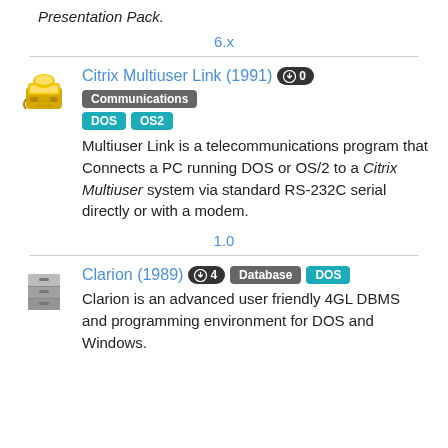Presentation Pack.
6.x
Citrix Multiuser Link (1991) 0 Communications DOS OS2
Multiuser Link is a telecommunications program that Connects a PC running DOS or OS/2 to a Citrix Multiuser system via standard RS-232C serial directly or with a modem.
1.0
Clarion (1989) 4 Database DOS
Clarion is an advanced user friendly 4GL DBMS and programming environment for DOS and Windows.